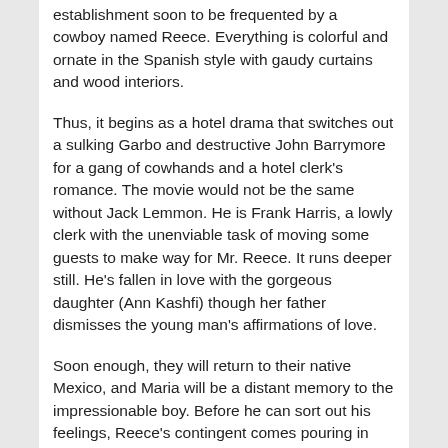establishment soon to be frequented by a cowboy named Reece. Everything is colorful and ornate in the Spanish style with gaudy curtains and wood interiors.
Thus, it begins as a hotel drama that switches out a sulking Garbo and destructive John Barrymore for a gang of cowhands and a hotel clerk's romance. The movie would not be the same without Jack Lemmon. He is Frank Harris, a lowly clerk with the unenviable task of moving some guests to make way for Mr. Reece. It runs deeper still. He's fallen in love with the gorgeous daughter (Ann Kashfi) though her father dismisses the young man's affirmations of love.
Soon enough, they will return to their native Mexico, and Maria will be a distant memory to the impressionable boy. Before he can sort out his feelings, Reece's contingent comes pouring in and takes over the hotel.
The whole movie is built out of these two men coming together and what a glorious juxtaposition of characters it is. The dreamy-eyed idiot and a veteran cowboy…